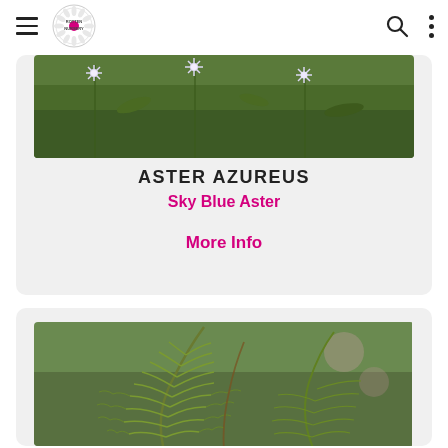Navigation bar with menu, logo, search, and options icons
[Figure (photo): Close-up photo of sky blue aster flowers with small white/lavender petals and green foliage]
ASTER AZUREUS
Sky Blue Aster
More Info
[Figure (photo): Close-up photo of green fern fronds against a blurred garden background with soft pink flowers]